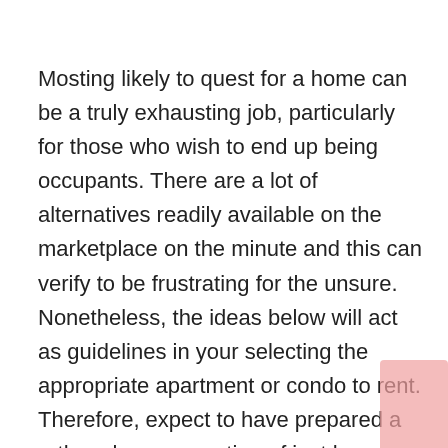Mosting likely to quest for a home can be a truly exhausting job, particularly for those who wish to end up being occupants. There are a lot of alternatives readily available on the marketplace on the minute and this can verify to be frustrating for the unsure. Nonetheless, the ideas below will act as guidelines in your selecting the appropriate apartment or condo to rent. Therefore, expect to have prepared a rather clear suggestion of just how much you agree to pay when beginning a discussion with a potential occupant. Likewise, you could also allot a sum of money to save throughout each month; therefore you would enable some financial savings to build up in situation